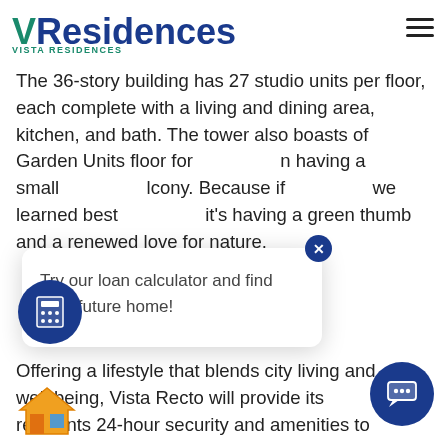Residences
The 36-story building has 27 studio units per floor, each complete with a living and dining area, kitchen, and bath. The tower also boasts of Garden Units floor for having a small balcony. Because if we learned best it's having a green thumb and a renewed love for nature.
Try our loan calculator and find your future home!
Offering a lifestyle that blends city living and well-being, Vista Recto will provide its residents 24-hour security and amenities to